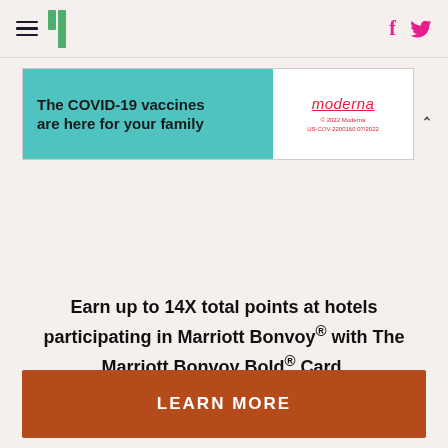HuffPost navigation with hamburger menu, logo, Facebook and Twitter icons
[Figure (screenshot): Moderna COVID-19 vaccine advertisement banner: teal left panel with text 'The COVID-19 vaccines are here for your family', white right panel with Moderna logo, copyright '© 2022 Moderna US-COV-2200160 07/2022']
Earn up to 14X total points at hotels participating in Marriott Bonvoy® with The Marriott Bonvoy Bold® Card.
LEARN MORE